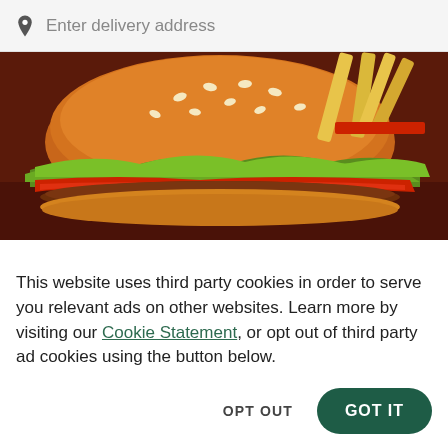Enter delivery address
[Figure (photo): Close-up photo of a Burger King hamburger with sesame seed bun, lettuce, tomato, and french fries in the background, on a dark brown background.]
Burger King (375 Gorham Rd)
New
American • burger • Fast Food • Family Meals
375 Gorham Rd, South Portland, ME 04106
This website uses third party cookies in order to serve you relevant ads on other websites. Learn more by visiting our Cookie Statement, or opt out of third party ad cookies using the button below.
OPT OUT
GOT IT